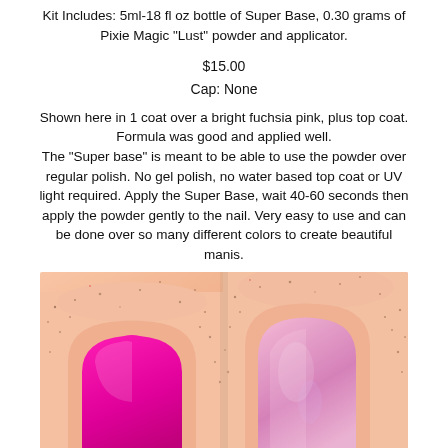Kit Includes: 5ml-18 fl oz bottle of Super Base, 0.30 grams of Pixie Magic “Lust” powder and applicator.
$15.00
Cap: None
Shown here in 1 coat over a bright fuchsia pink, plus top coat.
Formula was good and applied well.
The “Super base” is meant to be able to use the powder over regular polish. No gel polish, no water based top coat or UV light required. Apply the Super Base, wait 40-60 seconds then apply the powder gently to the nail. Very easy to use and can be done over so many different colors to create beautiful manis.
[Figure (photo): Close-up photo of two fingernails side by side on a peach/pink skin background. Left nail shows bright fuchsia/magenta polish with glitter speckles on the surrounding skin. Right nail shows a pink holographic/glitter finish with speckles on the surrounding skin.]